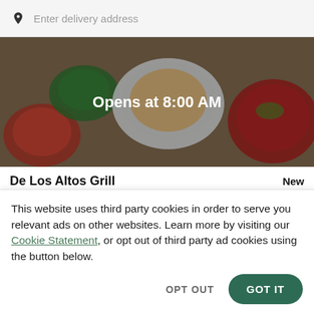Enter delivery address
[Figure (photo): Aerial view of food dishes with a dark overlay showing 'Opens at 8:00 AM']
De Los Altos Grill
New
$
This website uses third party cookies in order to serve you relevant ads on other websites. Learn more by visiting our Cookie Statement, or opt out of third party ad cookies using the button below.
OPT OUT
GOT IT